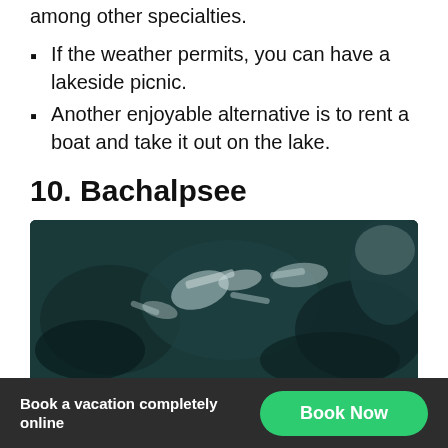serves organic trout taken straight from the lake, among other specialties.
If the weather permits, you can have a lakeside picnic.
Another enjoyable alternative is to rent a boat and take it out on the lake.
10. Bachalpsee
[Figure (photo): Aerial or close-up dark teal/black and white photograph showing rocky terrain with ice or snow fragments, possibly a lake or mountain scene.]
Book a vacation completely online
Book Now